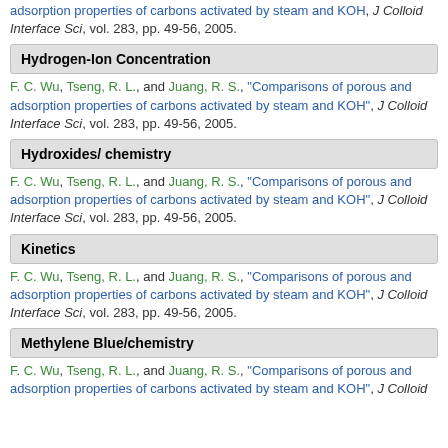adsorption properties of carbons activated by steam and KOH", J Colloid Interface Sci, vol. 283, pp. 49-56, 2005.
Hydrogen-Ion Concentration
F. C. Wu, Tseng, R. L., and Juang, R. S., "Comparisons of porous and adsorption properties of carbons activated by steam and KOH", J Colloid Interface Sci, vol. 283, pp. 49-56, 2005.
Hydroxides/ chemistry
F. C. Wu, Tseng, R. L., and Juang, R. S., "Comparisons of porous and adsorption properties of carbons activated by steam and KOH", J Colloid Interface Sci, vol. 283, pp. 49-56, 2005.
Kinetics
F. C. Wu, Tseng, R. L., and Juang, R. S., "Comparisons of porous and adsorption properties of carbons activated by steam and KOH", J Colloid Interface Sci, vol. 283, pp. 49-56, 2005.
Methylene Blue/chemistry
F. C. Wu, Tseng, R. L., and Juang, R. S., "Comparisons of porous and adsorption properties of carbons activated by steam and KOH", J Colloid Interface Sci